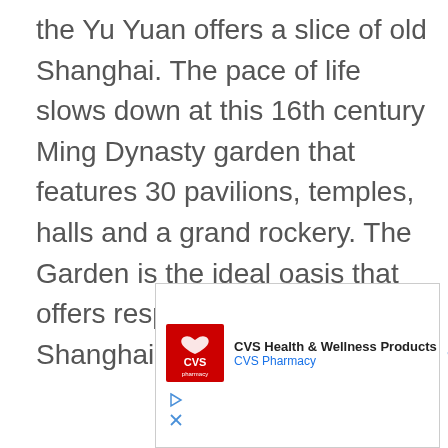the Yu Yuan offers a slice of old Shanghai. The pace of life slows down at this 16th century Ming Dynasty garden that features 30 pavilions, temples, halls and a grand rockery. The Garden is the ideal oasis that offers respite in the heart of the Shanghai bustle.
[Figure (other): CVS Health & Wellness Products advertisement banner with CVS Pharmacy logo, navigation arrow icon, play button and close button controls]